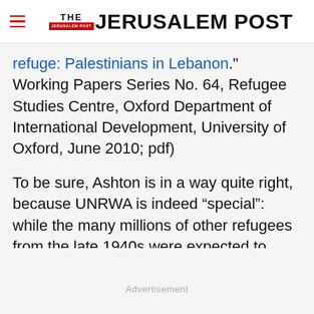THE JERUSALEM POST
refuge: Palestinians in Lebanon.”  Working Papers Series No. 64, Refugee Studies Centre, Oxford Department of International Development, University of Oxford, June 2010; pdf)
To be sure, Ashton is in a way quite right, because UNRWA is indeed “special”: while the many millions of other refugees from the late 1940s were expected to adjust themselves
Advertisement